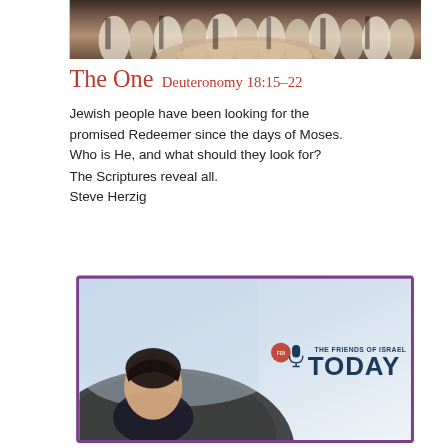[Figure (photo): Group of people in traditional/historical robes and garments gathered together, viewed from slightly above]
The One  Deuteronomy 18:15–22
Jewish people have been looking for the promised Redeemer since the days of Moses. Who is He, and what should they look for? The Scriptures reveal all.
Steve Herzig
[Figure (photo): The Friends of Israel Today podcast card — shows a man in a car with a microphone logo and the text THE FRIENDS OF ISRAEL TODAY, purple border]